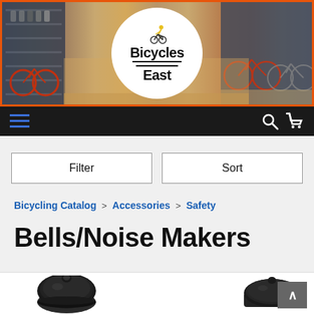[Figure (photo): Bicycles East store banner with shop interior photo and circular logo showing a cyclist on bicycle with text 'Bicycles East']
Navigation bar with hamburger menu, search icon, and cart icon
Filter | Sort
Bicycling Catalog > Accessories > Safety
Bells/Noise Makers
[Figure (photo): Product images of bicycle bells - a black dome-shaped bell on the left and a partial view of another bell product on the right]